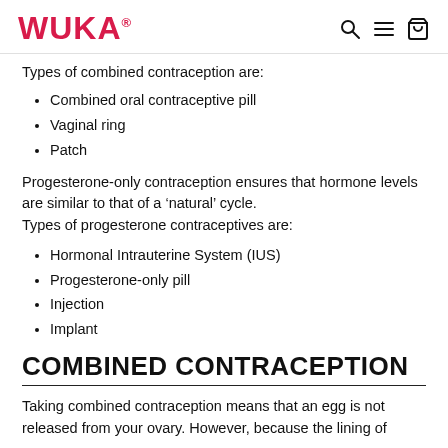WUKA
Types of combined contraception are:
Combined oral contraceptive pill
Vaginal ring
Patch
Progesterone-only contraception ensures that hormone levels are similar to that of a ‘natural’ cycle. Types of progesterone contraceptives are:
Hormonal Intrauterine System (IUS)
Progesterone-only pill
Injection
Implant
COMBINED CONTRACEPTION
Taking combined contraception means that an egg is not released from your ovary. However, because the lining of